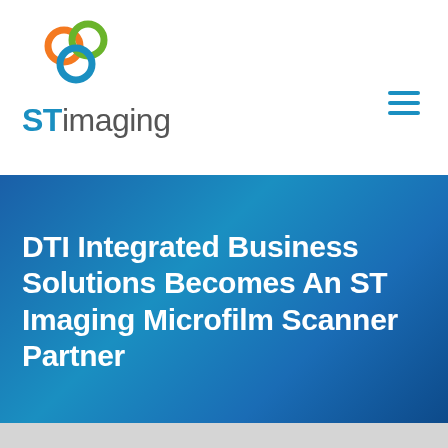[Figure (logo): STImaging logo with three colored circles (orange, green, blue) above the text 'STimaging']
DTI Integrated Business Solutions Becomes An ST Imaging Microfilm Scanner Partner